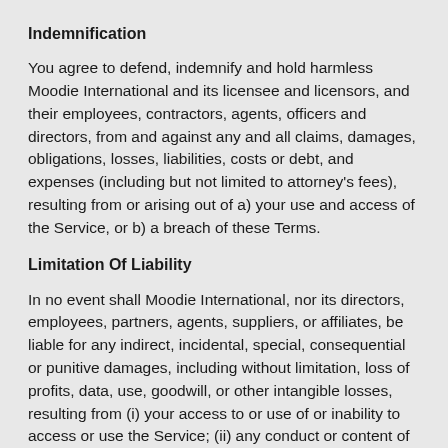Indemnification
You agree to defend, indemnify and hold harmless Moodie International and its licensee and licensors, and their employees, contractors, agents, officers and directors, from and against any and all claims, damages, obligations, losses, liabilities, costs or debt, and expenses (including but not limited to attorney's fees), resulting from or arising out of a) your use and access of the Service, or b) a breach of these Terms.
Limitation Of Liability
In no event shall Moodie International, nor its directors, employees, partners, agents, suppliers, or affiliates, be liable for any indirect, incidental, special, consequential or punitive damages, including without limitation, loss of profits, data, use, goodwill, or other intangible losses, resulting from (i) your access to or use of or inability to access or use the Service; (ii) any conduct or content of any third party on the Service; (iii) any content obtained from the Service; and (iv) unauthorized access, use or alteration of your transmissions or content,